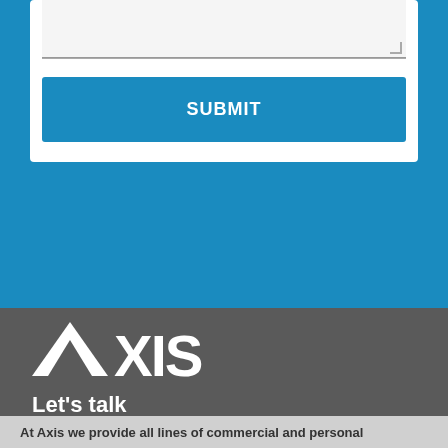[Figure (screenshot): Blue section with white form card containing a textarea input and a blue SUBMIT button]
[Figure (logo): AXIS insurance company logo in white on dark gray background]
Let's talk
At Axis we provide all lines of commercial and personal